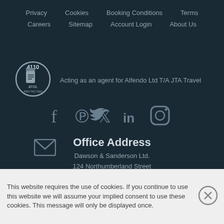Privacy   Cookies   Booking Conditions   Terms
Careers   Sitemap   Account Login   About Us
[Figure (logo): ATOL Protected badge with number 4110]
Acting as an agent for Alfendo Ltd T/A JTA Travel
[Figure (infographic): Social media icons: Facebook, Pinterest, Twitter, LinkedIn, Instagram]
[Figure (infographic): Envelope/email icon]
Office Address
Dawson & Sanderson Ltd.
124 Northumberland Street
This website requires the use of cookies. If you continue to use this website we will assume your implied consent to use these cookies. This message will only be displayed once.